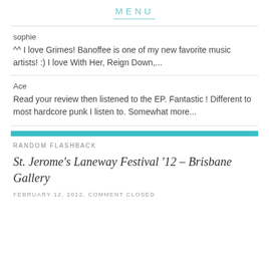MENU
sophie
^^ I love Grimes! Banoffee is one of my new favorite music artists! :) I love With Her, Reign Down,...
Ace
Read your review then listened to the EP. Fantastic ! Different to most hardcore punk I listen to. Somewhat more...
RANDOM FLASHBACK
St. Jerome's Laneway Festival '12 – Brisbane Gallery
FEBRUARY 12, 2012, COMMENT CLOSED